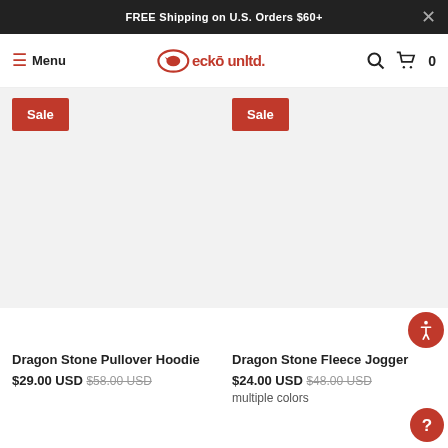FREE Shipping on U.S. Orders $60+
[Figure (logo): Ecko Unlimited logo with rhino icon, red color]
[Figure (screenshot): Product listing page showing two sale items: Dragon Stone Pullover Hoodie and Dragon Stone Fleece Jogger with Sale badges]
Dragon Stone Pullover Hoodie
$29.00 USD $58.00 USD
Dragon Stone Fleece Jogger
$24.00 USD $48.00 USD
multiple colors